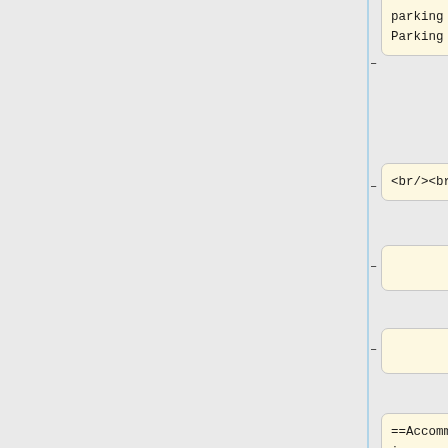todo parking Parking Map]
<br/><br/>
==Accommodation==
* $50+ [https://hostelfish.com/ Hostel Fish]
* $185+ [http://www.springhillsuitesdenver.com/